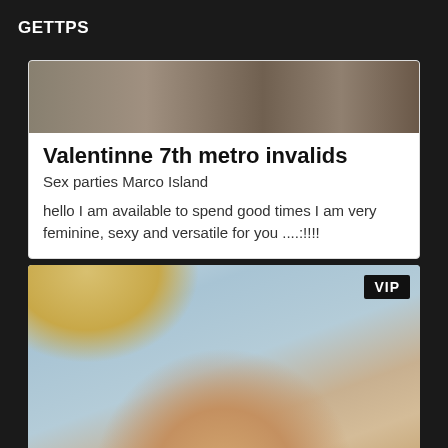GETTPS
[Figure (photo): Partial photo showing legs/lower body in dark clothing on a sofa, cropped at top of card]
Valentinne 7th metro invalids
Sex parties Marco Island
hello I am available to spend good times I am very feminine, sexy and versatile for you ....:!!!!
[Figure (photo): Close-up photo of a blonde woman's face against a light blue background, with a VIP badge in the top-right corner]